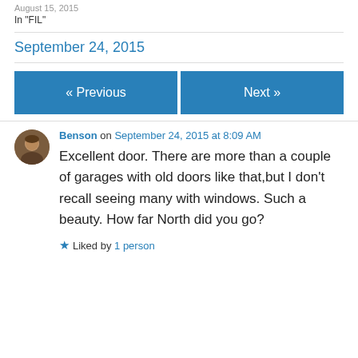August 15, 2015
In "FIL"
September 24, 2015
« Previous
Next »
Benson on September 24, 2015 at 8:09 AM
Excellent door. There are more than a couple of garages with old doors like that,but I don't recall seeing many with windows. Such a beauty. How far North did you go?
Liked by 1 person